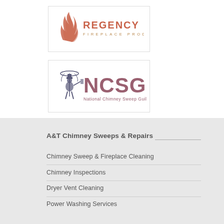[Figure (logo): Regency Fireplace Products logo with flame icon in salmon/red color and text 'REGENCY FIREPLACE PRODUCTS']
[Figure (logo): NCSG National Chimney Sweep Guild logo with chimney sweep figure illustration and large 'NCSG' text in mauve/brownish color, subtitle 'National Chimney Sweep Guild']
A&T Chimney Sweeps & Repairs
Chimney Sweep & Fireplace Cleaning
Chimney Inspections
Dryer Vent Cleaning
Power Washing Services